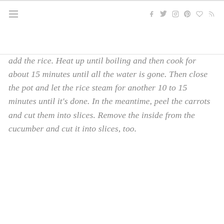add the rice. Heat up until boiling and then cook for about 15 minutes until all the water is gone. Then close the pot and let the rice steam for another 10 to 15 minutes until it's done. In the meantime, peel the carrots and cut them into slices. Remove the inside from the cucumber and cut it into slices, too.